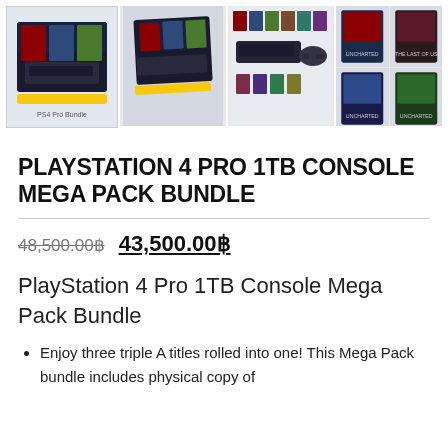[Figure (photo): Product image gallery showing PlayStation 4 Pro 1TB Console Mega Pack Bundle. Main large image on left showing PS4 Pro box with game covers. Three additional thumbnail images: PS4 Pro box angled view, PS4 Pro console with controller and game cases spread out, and a 2x2 grid of individual game case thumbnails.]
PLAYSTATION 4 PRO 1TB CONSOLE MEGA PACK BUNDLE
48,500.00฿  43,500.00฿
PlayStation 4 Pro 1TB Console Mega Pack Bundle
Enjoy three triple A titles rolled into one! This Mega Pack bundle includes physical copy of